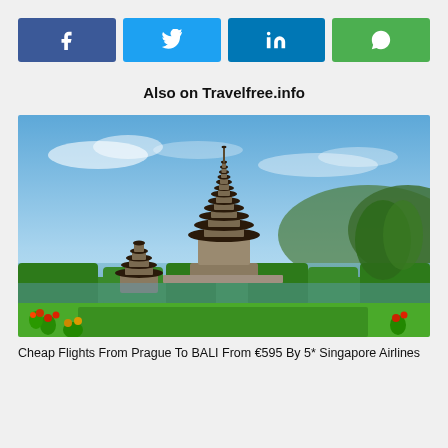[Figure (infographic): Social media sharing buttons: Facebook (blue), Twitter (light blue), LinkedIn (dark blue), WhatsApp (green)]
Also on Travelfree.info
[Figure (photo): Photo of a Balinese Hindu temple (Pura Ulun Danu Beratan) with a tall multi-tiered pagoda tower, lush green hedges, colorful flowers, and a reflective lake under a blue sky.]
Cheap Flights From Prague To BALI From €595 By 5* Singapore Airlines